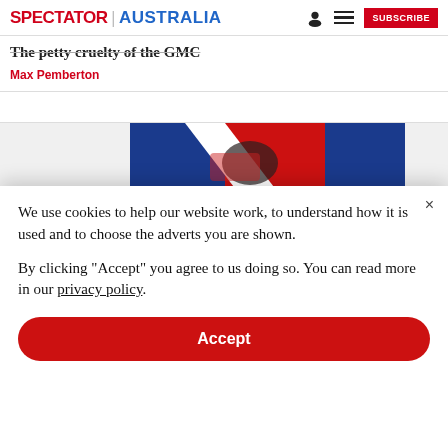SPECTATOR | AUSTRALIA
The petty cruelty of the GMC
Max Pemberton
[Figure (illustration): Partial illustration showing red, white and blue colors, partially visible behind cookie consent overlay]
We use cookies to help our website work, to understand how it is used and to choose the adverts you are shown.

By clicking "Accept" you agree to us doing so. You can read more in our privacy policy.
Accept